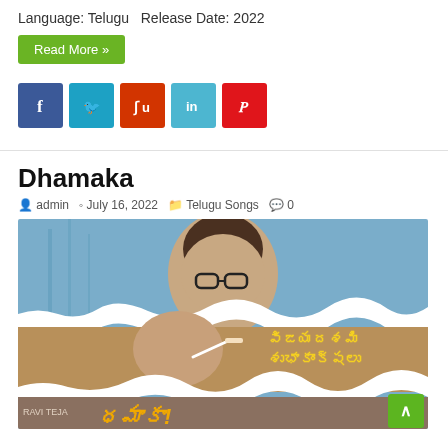Language: Telugu  Release Date: 2022
Read More »
[Figure (infographic): Social media share buttons: Facebook (blue), Twitter (light blue), StumbleUpon (red-orange), LinkedIn (teal), Pinterest (red)]
Dhamaka
admin  July 16, 2022  Telugu Songs  0
[Figure (photo): Movie poster for Dhamaka Telugu film showing actor in two poses with Telugu script text reading 'Vijayadasami Subhakankshalu' and the movie title 'Dhamaka!' in stylized golden letters at the bottom]